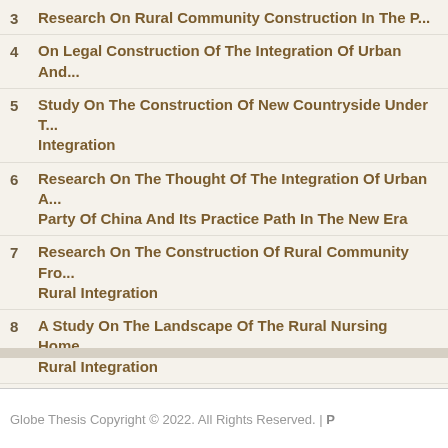3 Research On Rural Community Construction In The P...
4 On Legal Construction Of The Integration Of Urban And...
5 Study On The Construction Of New Countryside Under T... Integration
6 Research On The Thought Of The Integration Of Urban A... Party Of China And Its Practice Path In The New Era
7 Research On The Construction Of Rural Community Fro... Rural Integration
8 A Study On The Landscape Of The Rural Nursing Home... Rural Integration
9 The Construct Of Civilization Demonstration Village In In...
10 Since The16th National Congress Of The Communist Pa... Integration Development Strategy Research
Globe Thesis Copyright © 2022. All Rights Reserved. | P...